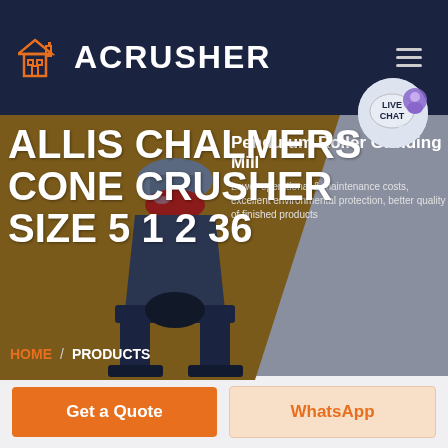[Figure (logo): ACRUSHER brand logo with orange building/factory icon and white bold text on dark navy background header]
ALLIS CHALMERS CONE CRUSHER SIZE 5 1 2 36
[Figure (photo): Photo of a cone crusher machine, industrial grey and black equipment against brown background]
Pendulum Roller Grinding Mill
Lower operational & maintenance costs, excellent environmental protection, better quality of finished products
HOME / PRODUCTS
Get a Quote
WhatsApp